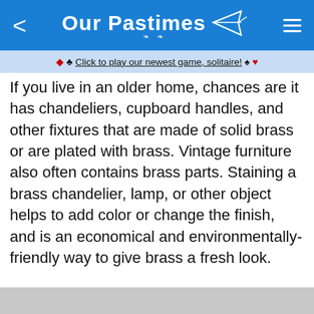Our Pastimes
♦ ♣ Click to play our newest game, solitaire! ♠ ♥
If you live in an older home, chances are it has chandeliers, cupboard handles, and other fixtures that are made of solid brass or are plated with brass. Vintage furniture also often contains brass parts. Staining a brass chandelier, lamp, or other object helps to add color or change the finish, and is an economical and environmentally-friendly way to give brass a fresh look.